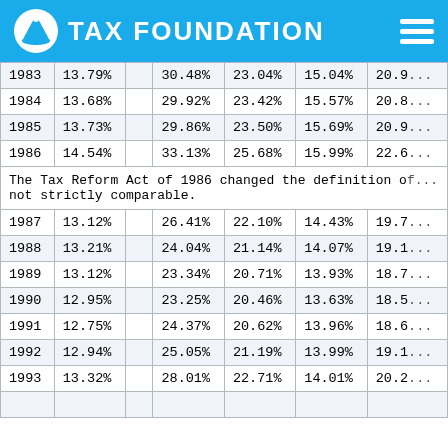TAX FOUNDATION
| Year | Col1 | Col2 | Col3 | Col4 | Col5 |
| --- | --- | --- | --- | --- | --- |
| 1983 | 13.79% |  | 30.48% | 23.04% | 15.04% | 20.9... |
| 1984 | 13.68% |  | 29.92% | 23.42% | 15.57% | 20.8... |
| 1985 | 13.73% |  | 29.86% | 23.50% | 15.69% | 20.9... |
| 1986 | 14.54% |  | 33.13% | 25.68% | 15.99% | 22.6... |
The Tax Reform Act of 1986 changed the definition of... not strictly comparable.
| Year | Col1 | Col2 | Col3 | Col4 | Col5 |
| --- | --- | --- | --- | --- | --- |
| 1987 | 13.12% |  | 26.41% | 22.10% | 14.43% | 19.7... |
| 1988 | 13.21% |  | 24.04% | 21.14% | 14.07% | 19.1... |
| 1989 | 13.12% |  | 23.34% | 20.71% | 13.93% | 18.7... |
| 1990 | 12.95% |  | 23.25% | 20.46% | 13.63% | 18.5... |
| 1991 | 12.75% |  | 24.37% | 20.62% | 13.96% | 18.6... |
| 1992 | 12.94% |  | 25.05% | 21.19% | 13.99% | 19.1... |
| 1993 | 13.32% |  | 28.01% | 22.71% | 14.01% | 20.2... |